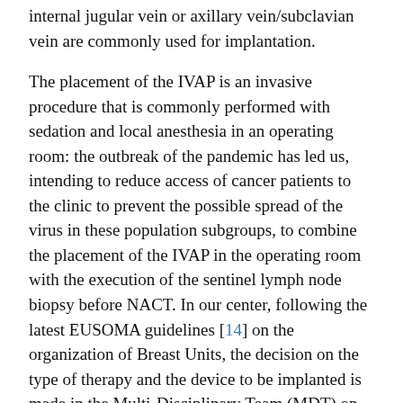internal jugular vein or axillary vein/subclavian vein are commonly used for implantation.
The placement of the IVAP is an invasive procedure that is commonly performed with sedation and local anesthesia in an operating room: the outbreak of the pandemic has led us, intending to reduce access of cancer patients to the clinic to prevent the possible spread of the virus in these population subgroups, to combine the placement of the IVAP in the operating room with the execution of the sentinel lymph node biopsy before NACT. In our center, following the latest EUSOMA guidelines [14] on the organization of Breast Units, the decision on the type of therapy and the device to be implanted is made in the Multi-Disciplinary Team (MDT) on the advice of the oncologist. It appears evident that the positioning of IVAP compared to other external central venous catheters such as Peripherally Inserted Central Catheter PICC or non-tunneled CVC is burdened by a